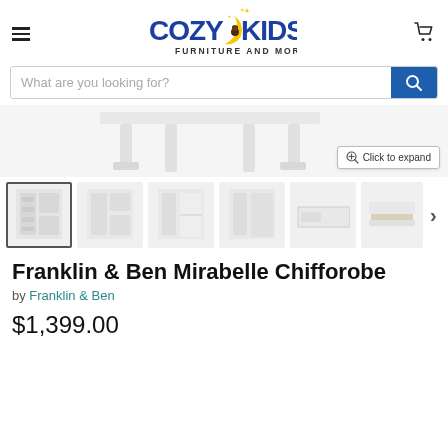[Figure (logo): Cozy Kids Furniture and More logo with moon and bear illustration]
[Figure (screenshot): Search bar with placeholder 'What are you looking for?' and blue search button]
[Figure (photo): Partial product image showing white furniture legs at bottom, with 'Click to expand' button]
[Figure (photo): Thumbnail strip showing 6 thumbnails of Franklin & Ben Mirabelle Chifforobe in white from various angles]
Franklin & Ben Mirabelle Chifforobe
by Franklin & Ben
$1,399.00